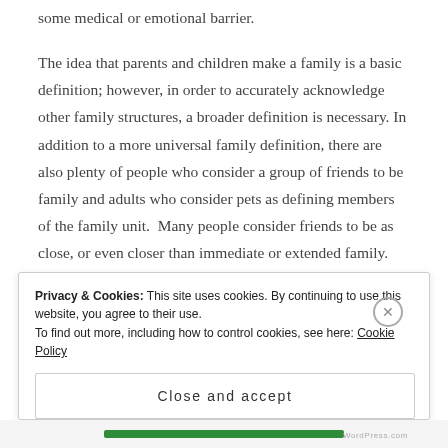some medical or emotional barrier.
The idea that parents and children make a family is a basic definition; however, in order to accurately acknowledge other family structures, a broader definition is necessary. In addition to a more universal family definition, there are also plenty of people who consider a group of friends to be family and adults who consider pets as defining members of the family unit. Many people consider friends to be as close, or even closer than immediate or extended family. People who have lost close family members may create a family
Privacy & Cookies: This site uses cookies. By continuing to use this website, you agree to their use.
To find out more, including how to control cookies, see here: Cookie Policy
Close and accept